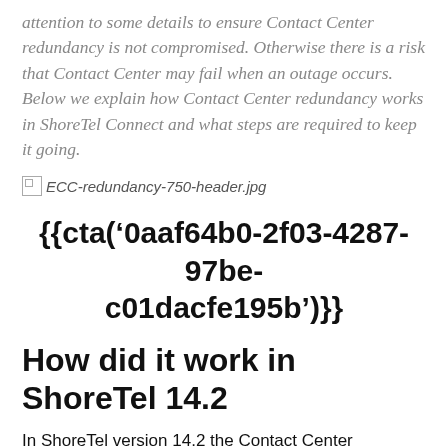attention to some details to ensure Contact Center redundancy is not compromised. Otherwise there is a risk that Contact Center may fail when an outage occurs. Below we explain how Contact Center redundancy works in ShoreTel Connect and what steps are required to keep it going.
[Figure (photo): Broken image placeholder for ECC-redundancy-750-header.jpg]
{{cta('0aaf64b0-2f03-4287-97be-c01dacfe195b')}}
How did it work in ShoreTel 14.2
In ShoreTel version 14.2 the Contact Center redundancy was not dependent on the ShoreTel Headquarters server. So, your system could have had the Primary Contact Center and/or Secondary Contact Center at any site in the system design. In